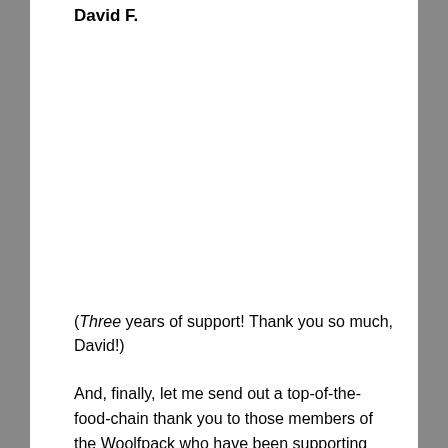David F.
(Three years of support! Thank you so much, David!)
And, finally, let me send out a top-of-the-food-chain thank you to those members of the Woolfpack who have been supporting this comic and our work from the very beginning!
Here are all the awesome readers who have been